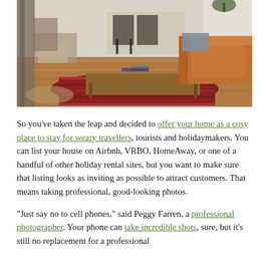[Figure (photo): Interior photo of a living room with hardwood floors, a brown leather sofa, a wooden coffee table on a red patterned rug, and chairs visible in the background near a wall with shelving.]
So you've taken the leap and decided to offer your home as a cosy place to stay for weary travellers, tourists and holidaymakers. You can list your house on Airbnb, VRBO, HomeAway, or one of a handful of other holiday rental sites, but you want to make sure that listing looks as inviting as possible to attract customers. That means taking professional, good-looking photos.
"Just say no to cell phones," said Peggy Farren, a professional photographer. Your phone can take incredible shots, sure, but it's still no replacement for a professional camera, which you can rent for relatively cheap, it seems.